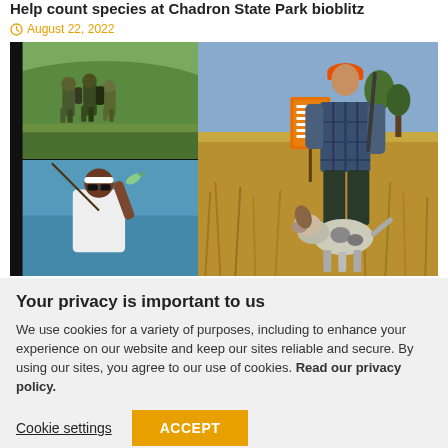Help count species at Chadron State Park bioblitz
August 22, 2022
[Figure (photo): Composite of three outdoor activity photos: top-left shows people in camouflage walking outdoors, bottom-left shows a person holding a fish while fishing, right shows a hunter with a dog in a field holding a pheasant next to an orange sign.]
Your privacy is important to us
We use cookies for a variety of purposes, including to enhance your experience on our website and keep our sites reliable and secure. By using our sites, you agree to our use of cookies. Read our privacy policy.
Cookie settings
ACCEPT